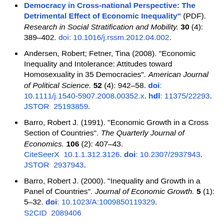Democracy in Cross-national Perspective: The Detrimental Effect of Economic Inequality" (PDF). Research in Social Stratification and Mobility. 30 (4): 389–402. doi: 10.1016/j.rssm.2012.04.002.
Andersen, Robert; Fetner, Tina (2008). "Economic Inequality and Intolerance: Attitudes toward Homosexuality in 35 Democracies". American Journal of Political Science. 52 (4): 942–58. doi: 10.1111/j.1540-5907.2008.00352.x. hdl: 11375/22293. JSTOR 25193859.
Barro, Robert J. (1991). "Economic Growth in a Cross Section of Countries". The Quarterly Journal of Economics. 106 (2): 407–43. CiteSeerX 10.1.1.312.3126. doi: 10.2307/2937943. JSTOR 2937943.
Barro, Robert J. (2000). "Inequality and Growth in a Panel of Countries". Journal of Economic Growth. 5 (1): 5–32. doi: 10.1023/A:1009850119329. S2CID 2089406.